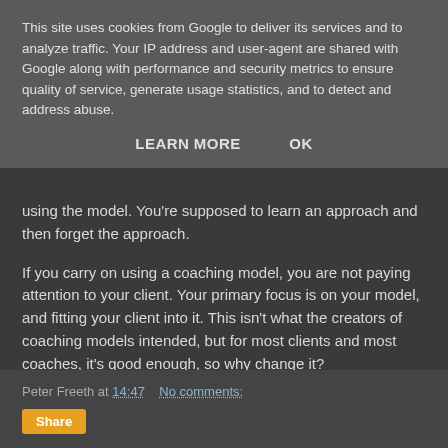This site uses cookies from Google to deliver its services and to analyze traffic. Your IP address and user-agent are shared with Google along with performance and security metrics to ensure quality of service, generate usage statistics, and to detect and address abuse.
LEARN MORE    OK
using the model. You're supposed to learn an approach and then forget the approach.
If you carry on using a coaching model, you are not paying attention to your client. Your primary focus is on your model, and fitting your client into it. This isn't what the creators of coaching models intended, but for most clients and most coaches, it's good enough, so why change it?
Peter Freeth at 14:47    No comments:
Share